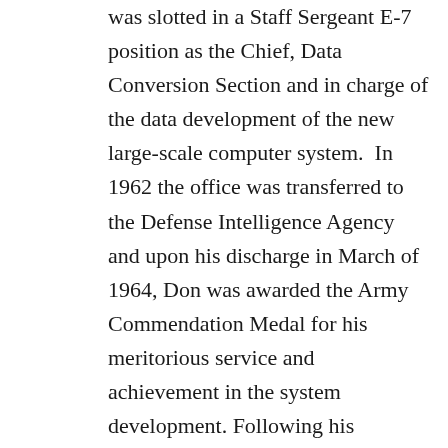was slotted in a Staff Sergeant E-7 position as the Chief, Data Conversion Section and in charge of the data development of the new large-scale computer system.  In 1962 the office was transferred to the Defense Intelligence Agency and upon his discharge in March of 1964, Don was awarded the Army Commendation Medal for his meritorious service and achievement in the system development.  Following his honorable discharge, Don accepted a civilian position as a Supervisory Computer Specialist in the same office. Over the next 14 years he was the Supervisory Data Base Manager in charge in support of all the automated data bases of the United States Military Commands, military agencies and internal agency management data bases.  Don was responsible for the receipt of all requests for ADP support, processing delegation to action offices and was a task force